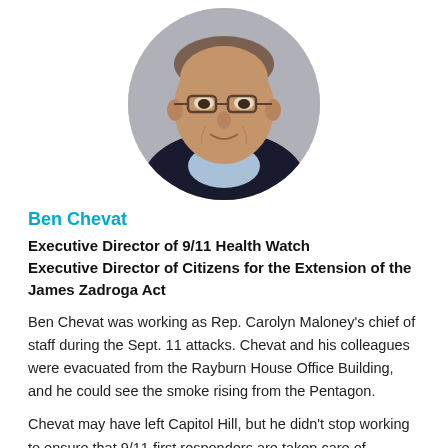[Figure (photo): Circular cropped headshot photograph of Ben Chevat, a middle-aged man with glasses, wearing a dark jacket and light blue checked shirt, photographed against a neutral grey background.]
Ben Chevat
Executive Director of 9/11 Health Watch
Executive Director of Citizens for the Extension of the James Zadroga Act
Ben Chevat was working as Rep. Carolyn Maloney's chief of staff during the Sept. 11 attacks. Chevat and his colleagues were evacuated from the Rayburn House Office Building, and he could see the smoke rising from the Pentagon.
Chevat may have left Capitol Hill, but he didn't stop working to ensure that 9/11 first responders are taken care of.